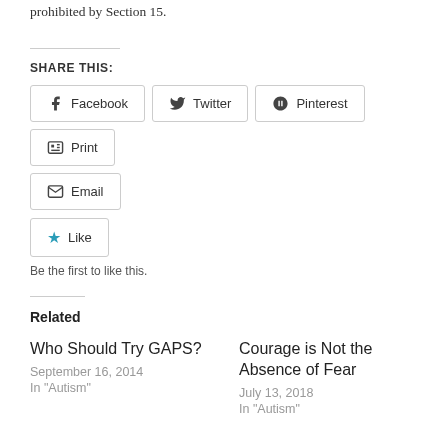prohibited by Section 15.
Share this:
Facebook  Twitter  Pinterest  Print  Email
Like  Be the first to like this.
Related
Who Should Try GAPS?
September 16, 2014
In "Autism"
Courage is Not the Absence of Fear
July 13, 2018
In "Autism"